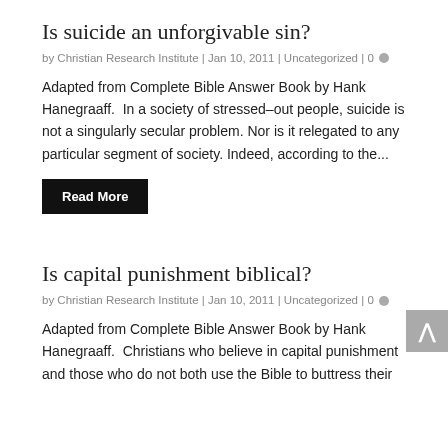Is suicide an unforgivable sin?
by Christian Research Institute | Jan 10, 2011 | Uncategorized | 0
Adapted from Complete Bible Answer Book by Hank Hanegraaff.  In a society of stressed–out people, suicide is not a singularly secular problem. Nor is it relegated to any particular segment of society. Indeed, according to the...
Read More
Is capital punishment biblical?
by Christian Research Institute | Jan 10, 2011 | Uncategorized | 0
Adapted from Complete Bible Answer Book by Hank Hanegraaff.  Christians who believe in capital punishment and those who do not both use the Bible to buttress their